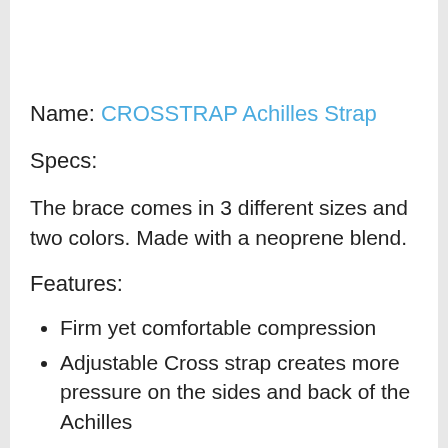Name: CROSSTRAP Achilles Strap
Specs:
The brace comes in 3 different sizes and two colors. Made with a neoprene blend.
Features:
Firm yet comfortable compression
Adjustable Cross strap creates more pressure on the sides and back of the Achilles